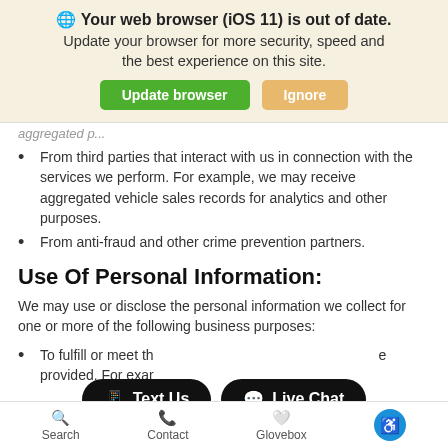[Figure (screenshot): Browser update notification banner with globe icon, bold text 'Your web browser (iOS 11) is out of date.' and subtitle 'Update your browser for more security, speed and the best experience on this site.' with green 'Update browser' button and tan 'Ignore' button]
From third parties that interact with us in connection with the services we perform. For example, we may receive aggregated vehicle sales records for analytics and other purposes.
From anti-fraud and other crime prevention partners.
Use Of Personal Information:
We may use or disclose the personal information we collect for one or more of the following business purposes:
To fulfill or meet the request you have made through the services provided. For example, you may submit personal contact information in order to indicate interest in a particular vehicle.
[Figure (screenshot): Two dark pill-shaped overlay buttons: 'Text Us' with phone icon and 'Live Chat' with chat bubble icon]
Search   Contact   Glovebox   [accessibility icon]